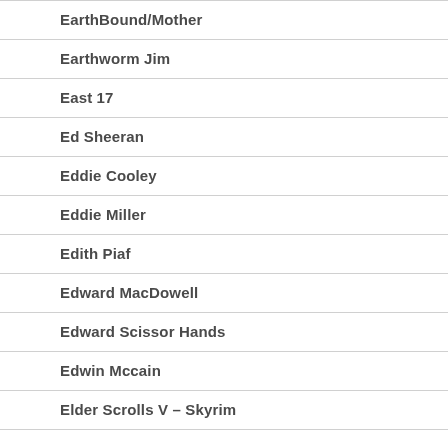EarthBound/Mother
Earthworm Jim
East 17
Ed Sheeran
Eddie Cooley
Eddie Miller
Edith Piaf
Edward MacDowell
Edward Scissor Hands
Edwin Mccain
Elder Scrolls V – Skyrim